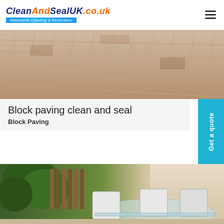CleanAndSealUK.co.uk — Nationwide Cleaning & Restoration
[Figure (photo): Aerial view of block paving / brickwork driveway with interlocking brown/red bricks]
Block paving clean and seal
Block Paving
[Figure (photo): Outdoor patio with glass table and white/silver chairs surrounded by greenery and wooden fence]